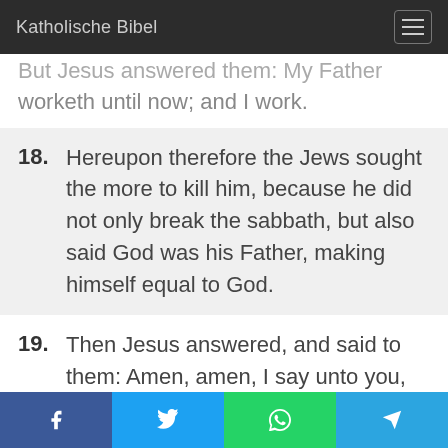Katholische Bibel
But Jesus answered them: My Father worketh until now; and I work.
18. Hereupon therefore the Jews sought the more to kill him, because he did not only break the sabbath, but also said God was his Father, making himself equal to God.
19. Then Jesus answered, and said to them: Amen, amen, I say unto you, the Son cannot do any thing of himself, but what he seeth the Father doing: for what
Facebook Twitter WhatsApp Telegram